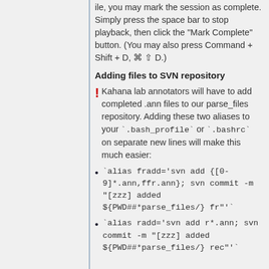ile, you may mark the session as complete. Simply press the space bar to stop playback, then click the "Mark Complete" button. (You may also press Command + Shift + D, ⌘ ⇧ D.)
Adding files to SVN repository
! Kahana lab annotators will have to add completed .ann files to our parse_files repository. Adding these two aliases to your `.bash_profile` or `.bashrc` on separate new lines will make this much easier:
`alias fradd='svn add {[0-9]*.ann,ffr.ann}; svn commit -m "[zzz] added ${PWD##*parse_files/} fr"`
`alias radd='svn add r*.ann; svn commit -m "[zzz] added ${PWD##*parse_files/} rec"`